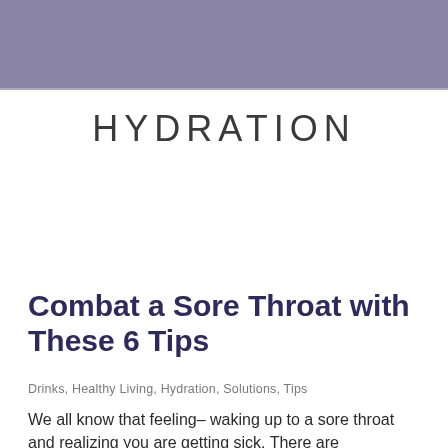HYDRATION
Combat a Sore Throat with These 6 Tips
Drinks, Healthy Living, Hydration, Solutions, Tips
We all know that feeling– waking up to a sore throat and realizing you are getting sick. There are